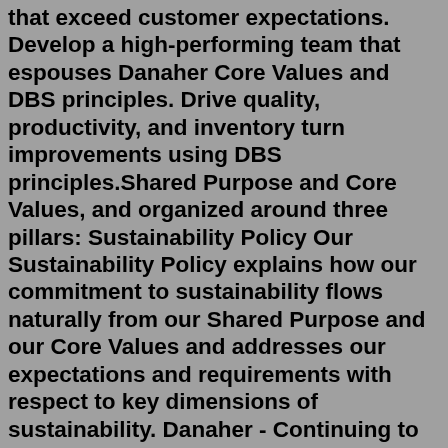that exceed customer expectations. Develop a high-performing team that espouses Danaher Core Values and DBS principles. Drive quality, productivity, and inventory turn improvements using DBS principles.Shared Purpose and Core Values, and organized around three pillars: Sustainability Policy Our Sustainability Policy explains how our commitment to sustainability flows naturally from our Shared Purpose and our Core Values and addresses our expectations and requirements with respect to key dimensions of sustainability. Danaher - Continuing to turn seemingly lumps of coal into diamonds! Danaher Corporation, one of the least known companies to the general public, produces products that we touch, see...Danaher's 5 Core Values. Danaher's Leadership Anchors. Danaher's 5 Segments. Danaher's 8 Core Value Drivers. DBS'S 8 Fundamentals. X-Rite Pantone's DBS Path to ... At Danaher, we are incredibly fortunate to navigate these turbulent times from a position of strength True to our core values, our associates are listening to our